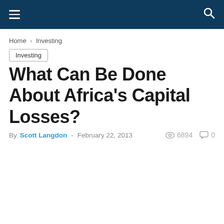Navigation bar with hamburger menu and search icon
Home › Investing
Investing
What Can Be Done About Africa's Capital Losses?
By Scott Langdon - February 22, 2013   6894   0